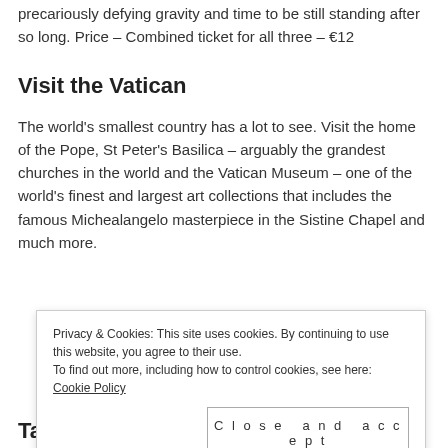precariously defying gravity and time to be still standing after so long. Price – Combined ticket for all three – €12
Visit the Vatican
The world's smallest country has a lot to see. Visit the home of the Pope, St Peter's Basilica – arguably the grandest churches in the world and the Vatican Museum – one of the world's finest and largest art collections that includes the famous Michealangelo masterpiece in the Sistine Chapel and much more.
Privacy & Cookies: This site uses cookies. By continuing to use this website, you agree to their use. To find out more, including how to control cookies, see here: Cookie Policy
Close and accept
Take a Free Walking Tour